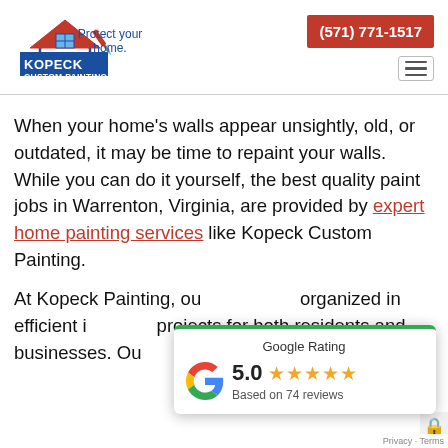[Figure (logo): Kopeck Custom Painting logo with house icon and paintbrush, tagline 'Protect your home.']
(571) 771-1517
When your home's walls appear unsightly, old, or outdated, it may be time to repaint your walls. While you can do it yourself, the best quality paint jobs in Warrenton, Virginia, are provided by expert home painting services like Kopeck Custom Painting.
At Kopeck Painting, ou... organized in efficient i... projects for both residents and businesses. Ou...
[Figure (infographic): Google Rating popup showing 5.0 stars based on 74 reviews, with Google G logo and green top border]